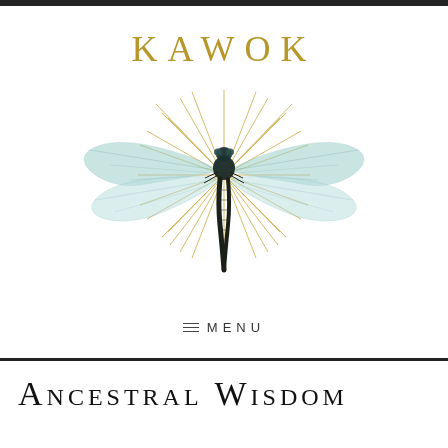KAWOK
[Figure (illustration): A dragonfly illustration with translucent teal wings, dark body, set against a golden sunburst radiating lines on a white background. This is the KAWOK logo emblem.]
≡  MENU
ANCESTRAL WISDOM